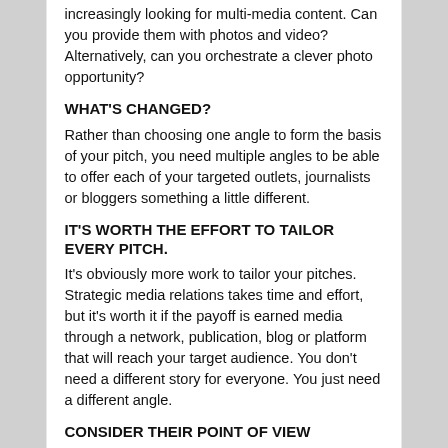increasingly looking for multi-media content. Can you provide them with photos and video? Alternatively, can you orchestrate a clever photo opportunity?
WHAT'S CHANGED?
Rather than choosing one angle to form the basis of your pitch, you need multiple angles to be able to offer each of your targeted outlets, journalists or bloggers something a little different.
IT'S WORTH THE EFFORT TO TAILOR EVERY PITCH.
It's obviously more work to tailor your pitches. Strategic media relations takes time and effort, but it's worth it if the payoff is earned media through a network, publication, blog or platform that will reach your target audience. You don't need a different story for everyone. You just need a different angle.
CONSIDER THEIR POINT OF VIEW